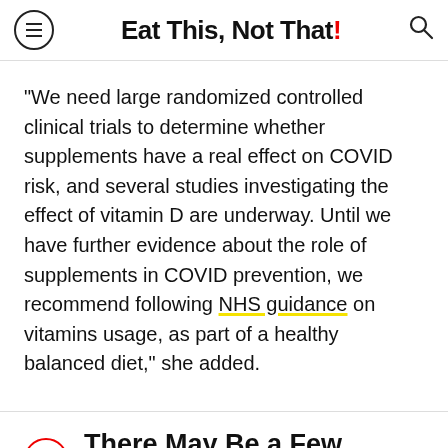Eat This, Not That!
"We need large randomized controlled clinical trials to determine whether supplements have a real effect on COVID risk, and several studies investigating the effect of vitamin D are underway. Until we have further evidence about the role of supplements in COVID prevention, we recommend following NHS guidance on vitamins usage, as part of a healthy balanced diet," she added.
7 There May Be a Few Biases at